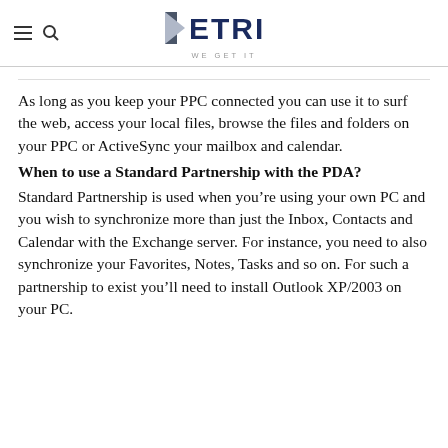PETRI — WE GET IT
As long as you keep your PPC connected you can use it to surf the web, access your local files, browse the files and folders on your PPC or ActiveSync your mailbox and calendar.
When to use a Standard Partnership with the PDA?
Standard Partnership is used when you're using your own PC and you wish to synchronize more than just the Inbox, Contacts and Calendar with the Exchange server. For instance, you need to also synchronize your Favorites, Notes, Tasks and so on. For such a partnership to exist you'll need to install Outlook XP/2003 on your PC.